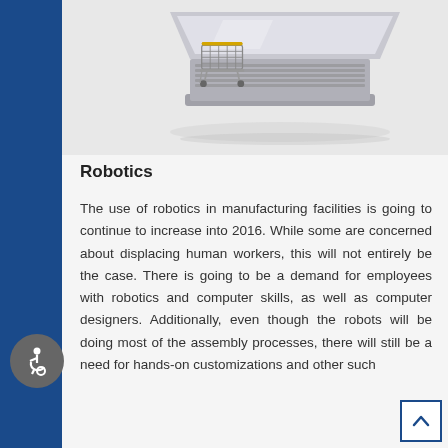[Figure (photo): A small shopping cart resting on an open laptop keyboard, on a light background.]
Robotics
The use of robotics in manufacturing facilities is going to continue to increase into 2016. While some are concerned about displacing human workers, this will not entirely be the case. There is going to be a demand for employees with robotics and computer skills, as well as computer designers. Additionally, even though the robots will be doing most of the assembly processes, there will still be a need for hands-on customizations and other such